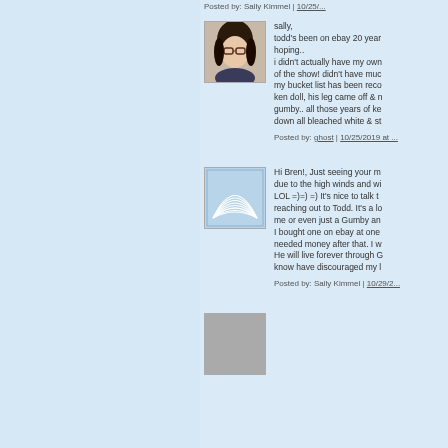Posted by: Sally Kimmel | 10/25/...
[Figure (photo): Avatar photo of a woman with dark hair and glasses]
sally,
todd's been on ebay 20 year hoping..
i didn't actually have my own of the show! didn't have muc my bucket list has been rec ken doll, his leg came off & n gumby.. all those years of ke down all bleached white & st
Posted by: ghost | 10/25/2019 at ...
[Figure (logo): Logo with layered arc/wave shapes in blue and white]
Hi Bren!, Just seeing your m due to the high winds and wi LOL =)=) =) It's nice to talk t reaching out to Todd. It's a lo me or even just a Gumby an I bought one on ebay at one needed money after that. I w He will live forever through G know have discouraged my l
Posted by: Sally Kimmel | 10/29/2...
[Figure (photo): Small avatar at bottom of page]